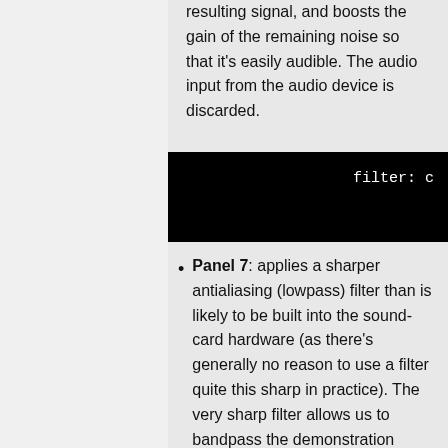resulting signal, and boosts the gain of the remaining noise so that it's easily audible. The audio input from the audio device is discarded.
[Figure (screenshot): Black bar showing code snippet with text 'filter: c' visible on right side]
Panel 7: applies a sharper antialiasing (lowpass) filter than is likely to be built into the sound-card hardware (as there's generally no reason to use a filter quite this sharp in practice). The very sharp filter allows us to bandpass the demonstration square wave without any harmonics